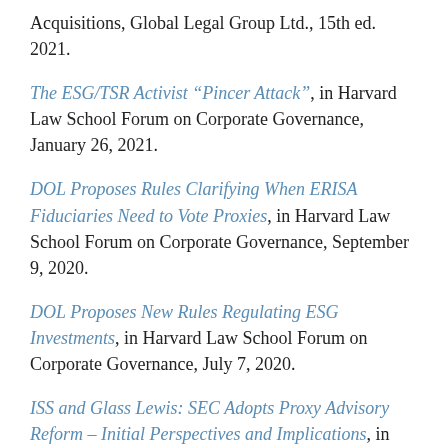Acquisitions, Global Legal Group Ltd., 15th ed. 2021.
The ESG/TSR Activist “Pincer Attack”, in Harvard Law School Forum on Corporate Governance, January 26, 2021.
DOL Proposes Rules Clarifying When ERISA Fiduciaries Need to Vote Proxies, in Harvard Law School Forum on Corporate Governance, September 9, 2020.
DOL Proposes New Rules Regulating ESG Investments, in Harvard Law School Forum on Corporate Governance, July 7, 2020.
ISS and Glass Lewis: SEC Adopts Proxy Advisory Reform – Initial Perspectives and Implications, in Harvard Law School Forum on Corporate Governance and Financial Regulation, August 8